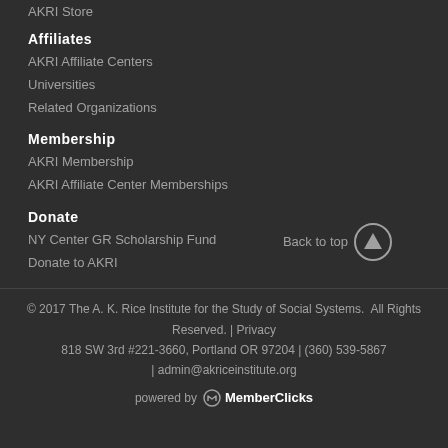AKRI Store
Affiliates
AKRI Affiliate Centers
Universities
Related Organizations
Membership
AKRI Membership
AKRI Affiliate Center Memberships
Donate
NY Center GR Scholarship Fund
Donate to AKRI
Back to top
© 2017 The A. K. Rice Institute for the Study of Social Systems.  All Rights Reserved.  |  Privacy
818 SW 3rd #221-3660, Portland OR 97204 | (360) 539-5867
| admin@akriceinstitute.org
powered by MemberClicks